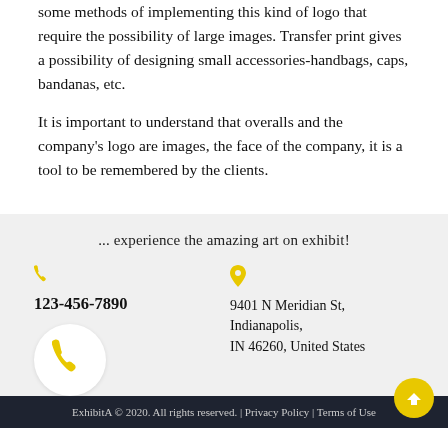some methods of implementing this kind of logo that require the possibility of large images. Transfer print gives a possibility of designing small accessories-handbags, caps, bandanas, etc.
It is important to understand that overalls and the company's logo are images, the face of the company, it is a tool to be remembered by the clients.
... experience the amazing art on exhibit!
123-456-7890
9401 N Meridian St, Indianapolis, IN 46260, United States
ExhibitA © 2020. All rights reserved. | Privacy Policy | Terms of Use